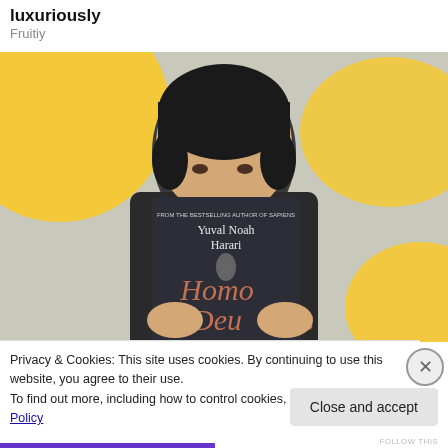luxuriously
Fruitiy
[Figure (photo): A person holding up the book 'Homo Deus' by Yuval Noah Harari in front of their face, against a background with yellow decorative shapes.]
Privacy & Cookies: This site uses cookies. By continuing to use this website, you agree to their use.
To find out more, including how to control cookies, see here: Cookie Policy
Close and accept